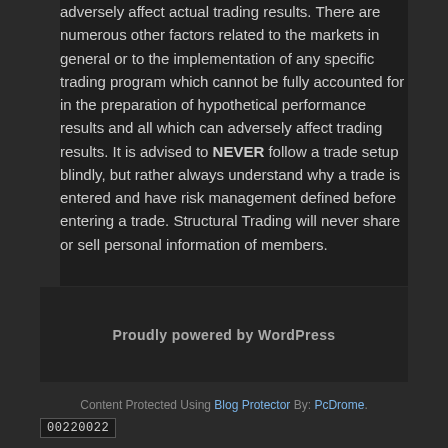adversely affect actual trading results. There are numerous other factors related to the markets in general or to the implementation of any specific trading program which cannot be fully accounted for in the preparation of hypothetical performance results and all which can adversely affect trading results. It is advised to NEVER follow a trade setup blindly, but rather always understand why a trade is entered and have risk management defined before entering a trade. Structural Trading will never share or sell personal information of members.
Proudly powered by WordPress
Content Protected Using Blog Protector By: PcDrome.
00220022